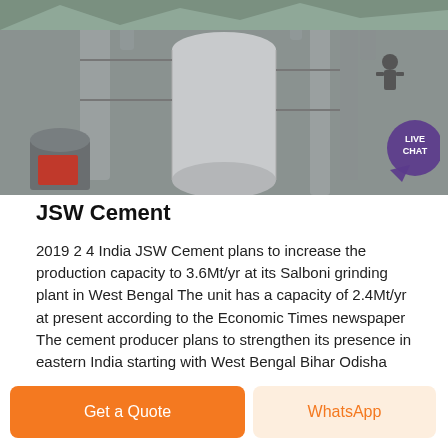[Figure (photo): Industrial cement plant machinery — large cylindrical silos, pipes, and equipment on scaffolding, with a worker visible in the upper right]
JSW Cement
2019 2 4 India JSW Cement plans to increase the production capacity to 3.6Mt/yr at its Salboni grinding plant in West Bengal The unit has a capacity of 2.4Mt/yr at present according to the Economic Times newspaper The cement producer plans to strengthen its presence in eastern India starting with West Bengal Bihar Odisha and Jharkhand.
Chat Now
[Figure (photo): Interior of an industrial warehouse or plant with large equipment and structural steel trusses on the ceiling, with natural light from windows on the right side]